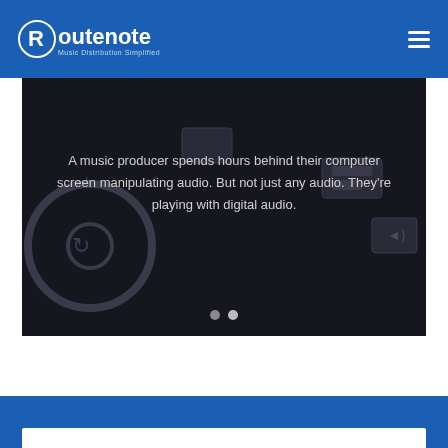[Figure (logo): RouteNote logo with white text on blue background, tagline: Music Distribution Simplified]
[Figure (screenshot): Dark hero banner image showing a music producer at a computer with audio equipment silhouettes in the background]
A music producer spends hours behind their computer screen manipulating audio. But not just any audio. They’re playing with digital audio.